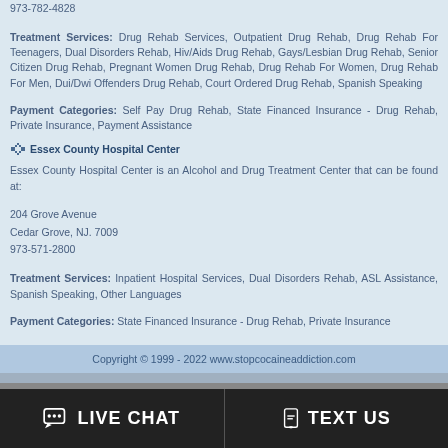973-782-4828
Treatment Services: Drug Rehab Services, Outpatient Drug Rehab, Drug Rehab For Teenagers, Dual Disorders Rehab, Hiv/Aids Drug Rehab, Gays/Lesbian Drug Rehab, Senior Citizen Drug Rehab, Pregnant Women Drug Rehab, Drug Rehab For Women, Drug Rehab For Men, Dui/Dwi Offenders Drug Rehab, Court Ordered Drug Rehab, Spanish Speaking
Payment Categories: Self Pay Drug Rehab, State Financed Insurance - Drug Rehab, Private Insurance, Payment Assistance
Essex County Hospital Center
Essex County Hospital Center is an Alcohol and Drug Treatment Center that can be found at:
204 Grove Avenue
Cedar Grove, NJ. 7009
973-571-2800
Treatment Services: Inpatient Hospital Services, Dual Disorders Rehab, ASL Assistance, Spanish Speaking, Other Languages
Payment Categories: State Financed Insurance - Drug Rehab, Private Insurance
Copyright © 1999 - 2022 www.stopcocaineaddiction.com